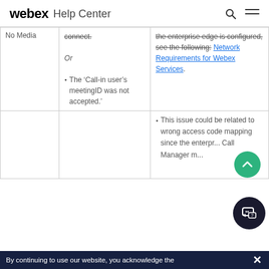webex Help Center
|  |  |  |
| --- | --- | --- |
| No Media | connect.

Or

• The 'Call-in user's meetingID was not accepted.' | the enterprise edge is configured, see the following: Network Requirements for Webex Services. |
|  |  | • This issue could be related to wrong access code mapping since the enterprise Call Manager m... |
By continuing to use our website, you acknowledge the